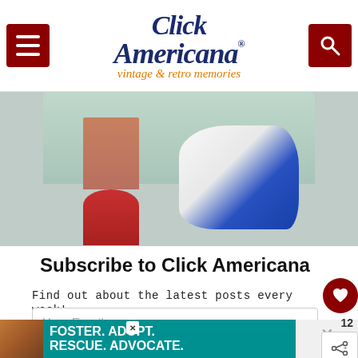Click Americana - vintage & retro memories
[Figure (photo): Vintage photo showing a girl in a red dress near laundry, kitchen setting]
Subscribe to Click Americana
Find out about the latest posts every week!
Your Email...
YES, SIGN UP FOR FREE
I consent to receiving emails and personalized ads.
[Figure (infographic): WHAT'S NEXT → The best vintage gum... promotional panel with thumbnail]
[Figure (infographic): FOSTER. ADOPT. RESCUE. ADVOCATE. pet adoption advertisement banner with dog photo]